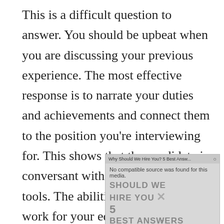This is a difficult question to answer. You should be upbeat when you are discussing your previous experience. The most effective response is to narrate your duties and achievements and connect them to the position you're interviewing for. This shows that the candidate is conversant with the administration tools. The abilities people require to work for your educational administration are usually acquired through experience. To this question, you can respond by saying:
[Figure (screenshot): An overlaid video advertisement with title 'Why Should We Hire You? 5 Best Answ...' showing 'No compatible source was found for this media.' error message, with bold text 'SHOULD WE HIRE YOU?' and '5 Best Answers' visible on a gray background with a close (X) button.]